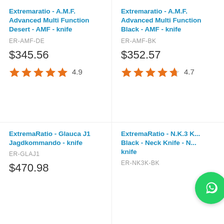Extremaratio - A.M.F. Advanced Multi Function Desert - AMF - knife
ER-AMF-DE
$345.56
4.9
Extremaratio - A.M.F. Advanced Multi Function Black - AMF - knife
ER-AMF-BK
$352.57
4.7
ExtremaRatio - Glauca J1 Jagdkommando - knife
ER-GLAJ1
$470.98
ExtremaRatio - N.K.3 K... Black - Neck Knife - N... knife
ER-NK3K-BK